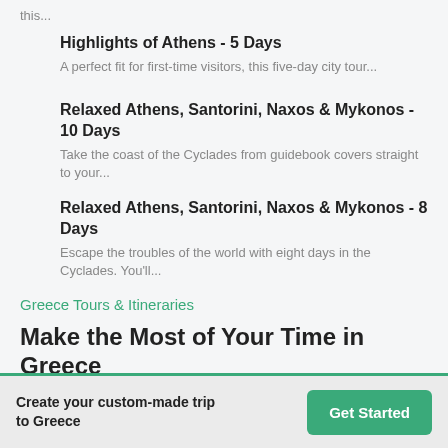this...
Highlights of Athens - 5 Days
A perfect fit for first-time visitors, this five-day city tour...
Relaxed Athens, Santorini, Naxos & Mykonos - 10 Days
Take the coast of the Cyclades from guidebook covers straight to your...
Relaxed Athens, Santorini, Naxos & Mykonos - 8 Days
Escape the troubles of the world with eight days in the Cyclades. You'll...
Greece Tours & Itineraries
Make the Most of Your Time in Greece
How Many Days to Spend in Greece?
Create your custom-made trip to Greece
Get Started